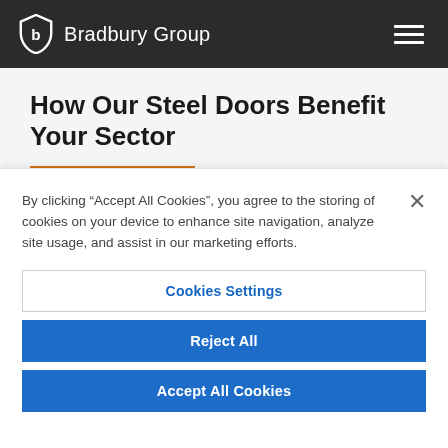Bradbury Group
How Our Steel Doors Benefit Your Sector
By clicking “Accept All Cookies”, you agree to the storing of cookies on your device to enhance site navigation, analyze site usage, and assist in our marketing efforts.
Cookies Settings
Reject All
Accept All Cookies